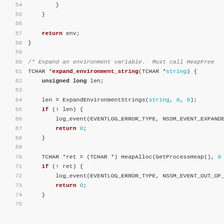Source code listing lines 54-75, C code for expand_environment_string function